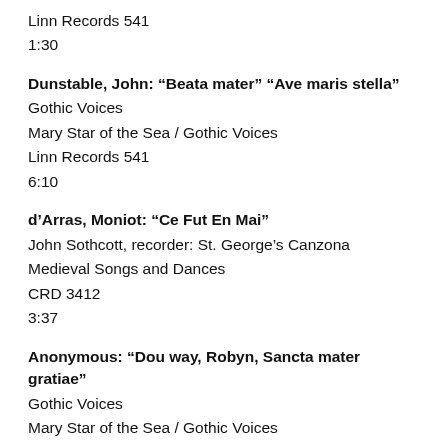Linn Records 541
1:30
Dunstable, John: “Beata mater” “Ave maris stella”
Gothic Voices
Mary Star of the Sea / Gothic Voices
Linn Records 541
6:10
d’Arras, Moniot: “Ce Fut En Mai”
John Sothcott, recorder: St. George’s Canzona
Medieval Songs and Dances
CRD 3412
3:37
Anonymous: “Dou way, Robyn, Sancta mater gratiae”
Gothic Voices
Mary Star of the Sea / Gothic Voices